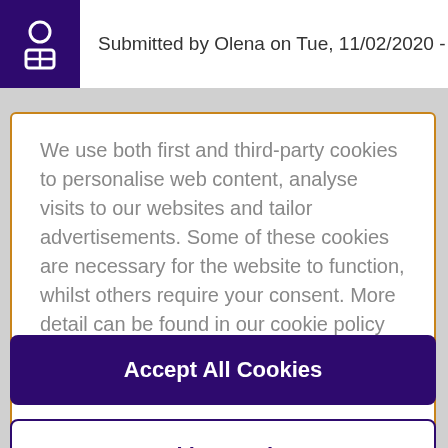Submitted by Olena on Tue, 11/02/2020 -
We use both first and third-party cookies to personalise web content, analyse visits to our websites and tailor advertisements. Some of these cookies are necessary for the website to function, whilst others require your consent. More detail can be found in our cookie policy and you can tailor your choices in the preference centre.
Accept All Cookies
Cookies Settings